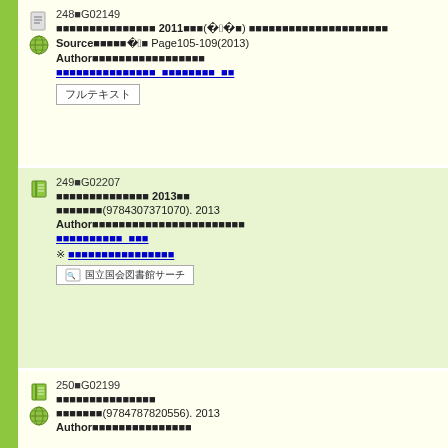248■G02149 ■■■■■■■■■■■■■■■ 2011■■■(■25■2■19■) ■■■■■■■■■■■■■■■■■■■■■■ Source■■■■■■23■1■ Page105-109(2013) Author■■■■■■■■■■■■■■■■■
249■G02207 ■■■■■■■■■■■■■■ 2013■■ ■■■■■■■(9784307371070). 2013 Author■■■■■■■■■■■■■■■■■■■■■■■ ★ ■■■■■■■■■■■■■■
250■G02199 ■■■■■■■■■■■■■■■ ■■■■■■■(9784787820556). 2013 Author■■■■■■■■■■■■■■■